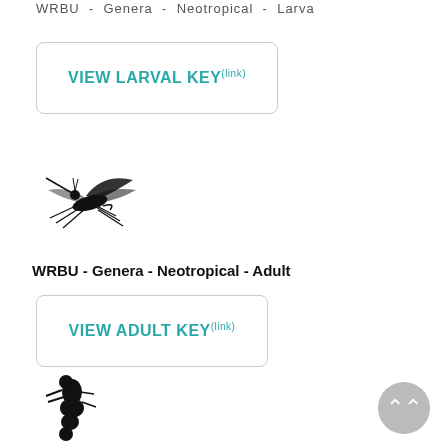WRBU - Genera - Neotropical - Larva
VIEW LARVAL KEY (link)
[Figure (illustration): Black silhouette illustration of a mosquito viewed from the side, showing wings, legs, and proboscis]
WRBU - Genera - Neotropical - Adult
VIEW ADULT KEY (link)
[Figure (illustration): Black silhouette illustration of a mosquito larva/pupa viewed from above]